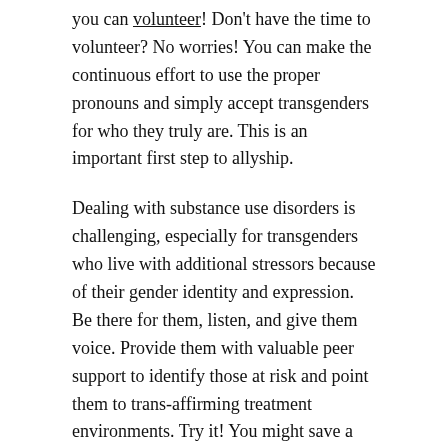you can volunteer! Don't have the time to volunteer? No worries! You can make the continuous effort to use the proper pronouns and simply accept transgenders for who they truly are. This is an important first step to allyship.
Dealing with substance use disorders is challenging, especially for transgenders who live with additional stressors because of their gender identity and expression. Be there for them, listen, and give them voice. Provide them with valuable peer support to identify those at risk and point them to trans-affirming treatment environments. Try it! You might save a life.
References
American Psychological Association. (2014). Transgender people, gender identity and gender